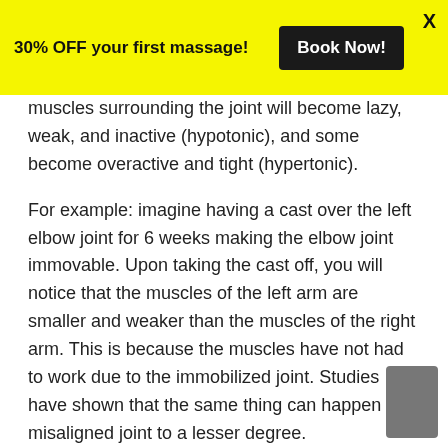30% OFF your first massage! Book Now! X
muscles surrounding the joint will become lazy, weak, and inactive (hypotonic), and some become overactive and tight (hypertonic).
For example: imagine having a cast over the left elbow joint for 6 weeks making the elbow joint immovable. Upon taking the cast off, you will notice that the muscles of the left arm are smaller and weaker than the muscles of the right arm. This is because the muscles have not had to work due to the immobilized joint. Studies have shown that the same thing can happen to a misaligned joint to a lesser degree.
What comes after inactivity in muscles is lack of nerve